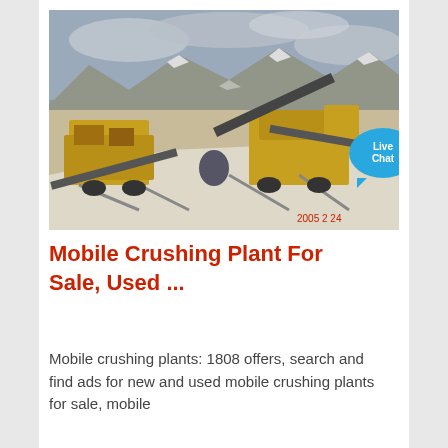[Figure (photo): Outdoor photo of a yellow mobile crushing plant / mining equipment at a mountainous snowy landscape site. Timestamp in lower right: 2005 2 24]
Mobile Crushing Plant For Sale, Used ...
Mobile crushing plants: 1808 offers, search and find ads for new and used mobile crushing plants for sale, mobile